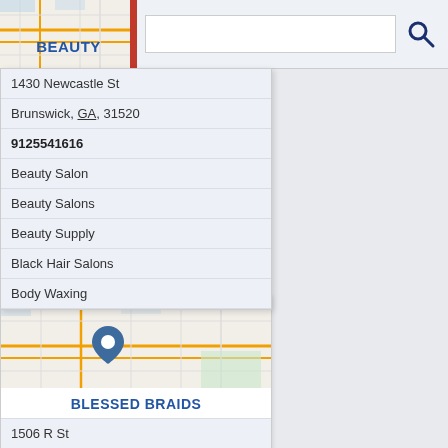[Figure (screenshot): Top bar with map thumbnail, red vertical bar, search input field, search icon, and BEAUTY label]
1430 Newcastle St
Brunswick, GA, 31520
9125541616
Beauty Salon
Beauty Salons
Beauty Supply
Black Hair Salons
Body Waxing
[Figure (map): Map thumbnail with street map and blue location pin marker for Blessed Braids]
BLESSED BRAIDS
1506 R St
Brunswick, GA, 31520
9122644593
African American Hair Salons
African Hair Braiding
Beauty Salon